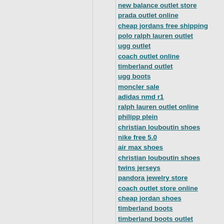new balance outlet store
prada outlet online
cheap jordans free shipping
polo ralph lauren outlet
ugg outlet
coach outlet online
timberland outlet
ugg boots
moncler sale
adidas nmd r1
ralph lauren outlet online
philipp plein
christian louboutin shoes
nike free 5.0
air max shoes
christian louboutin shoes
twins jerseys
pandora jewelry store
coach outlet store online
cheap jordan shoes
timberland boots
timberland boots outlet
air jordan shoes
timberland shoes
canada goose
adidas originals
ugg shoes
polo ralph lauren outlet online
cheap air jordans
adidas yeezy
ugg outlet store
christian louboutin sale
kate spade outlet
canada goose outlet store
pandora charms sale clearance
canada goose sale
coach factory outlet
pandora jewelry